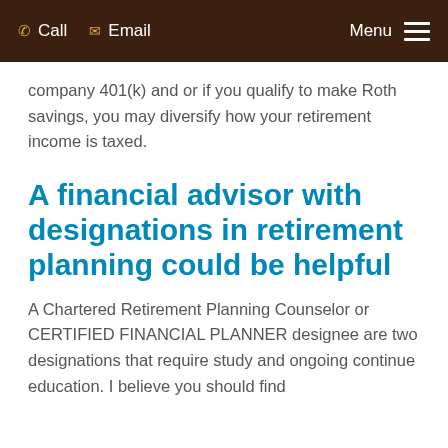Call  Email  Menu
company 401(k) and or if you qualify to make Roth savings, you may diversify how your retirement income is taxed.
A financial advisor with designations in retirement planning could be helpful
A Chartered Retirement Planning Counselor or CERTIFIED FINANCIAL PLANNER designee are two designations that require study and ongoing continue education. I believe you should find